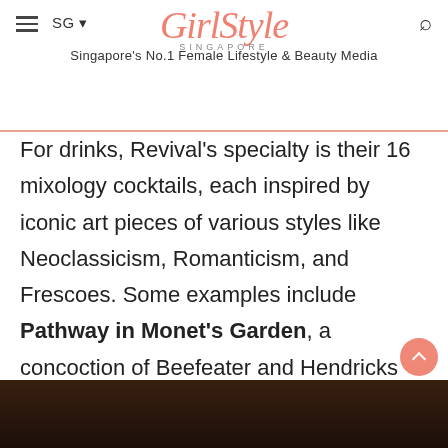GirlStyle SINGAPORE — Singapore's No.1 Female Lifestyle & Beauty Media
For drinks, Revival's specialty is their 16 mixology cocktails, each inspired by iconic art pieces of various styles like Neoclassicism, Romanticism, and Frescoes. Some examples include Pathway in Monet's Garden, a concoction of Beefeater and Hendricks Gin with St Germain elderflower liqueur, honeysuckle, and jasmine, and Portrait of Pablo Picasso, another gin-based cocktail with Suze liqueur and fruity-floral notes.
[Figure (photo): Bottom strip showing a dark background image, likely cocktails or bar scene]